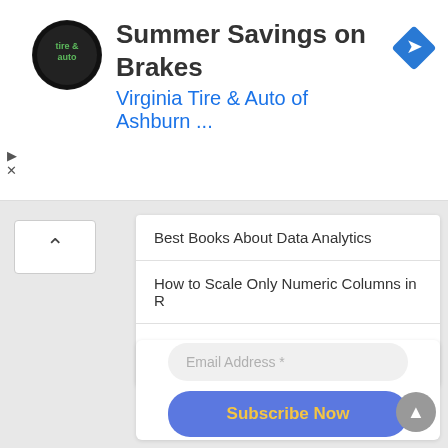[Figure (screenshot): Advertisement banner for Virginia Tire & Auto of Ashburn with logo, title 'Summer Savings on Brakes', subtitle 'Virginia Tire & Auto of Ashburn ...', and a blue navigation diamond icon on the right.]
Best Books About Data Analytics
How to Scale Only Numeric Columns in R
Best Books to Learn Statistics for Data Science
Email Address *
Subscribe Now